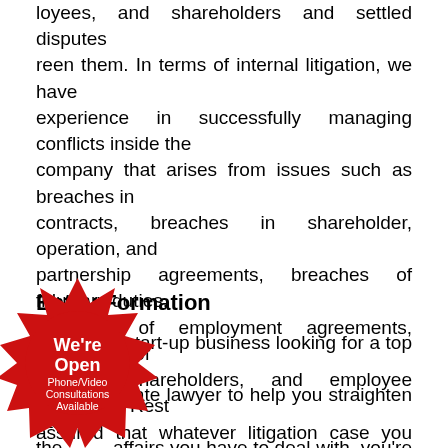loyees, and shareholders and settled disputes between them. In terms of internal litigation, we have experience in successfully managing conflicts inside the company that arises from issues such as breaches in contracts, breaches in shareholder, operation, and partnership agreements, breaches of fiduciary duties, breaches of employment agreements, oppression of minority shareholders, and employee protection. Rest assured that whatever litigation case you find yourself facing, we will pour all our resources and expertise into reaching the best possible outcome for you.
Entity Formation
If you're a start-up business looking for a top Solon Mills corporate lawyer to help you straighten out all the affairs you have to deal with, you're in the right place. Establishing the type of business that you choose is vital to the future and success of the company. Whether you plan to be a corporation, partnership, single proprietorship, or any business
[Figure (other): Red starburst badge with white text reading 'We're Open Phone/Video Consultations Available']